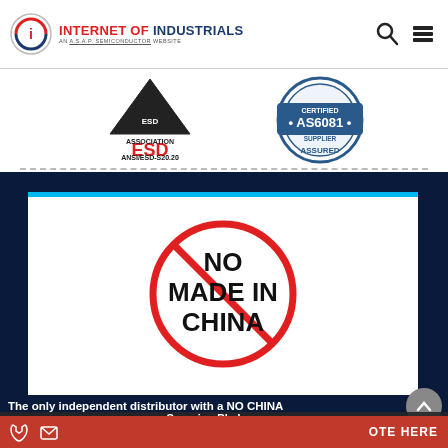[Figure (logo): Internet of Industrials logo - red circle with 'i', red and blue text 'INTERNET OF INDUSTRIALS', subtitle 'AN A.S.A.P. SEMICONDUCTOR WEBSITE']
[Figure (logo): ESD Association ANSI/ESD-S20.20 certification badge]
[Figure (logo): AS6081 Certified Supplier Assured certification badge]
[Figure (illustration): No Made In China symbol - red circle with diagonal slash over text NO MADE IN CHINA]
The only independent distributor with a NO CHINA
Sourcing Pledge
AS9120B, ISO 2001-2015, and FAA 8056B Accredited
We use cookies to ensure that we give you the best experience on our website. If you continue to use this site we will assume that you are happy with it.
Yes, I Accept Cookies.
VOTE HERE